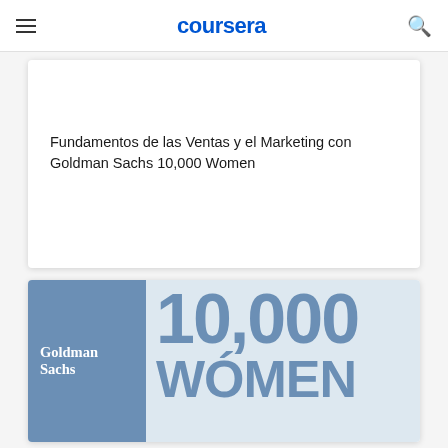coursera
Fundamentos de las Ventas y el Marketing con Goldman Sachs 10,000 Women
[Figure (logo): Goldman Sachs 10,000 Women logo banner with dark blue background on left showing 'Goldman Sachs' in white serif font, and light blue background on right showing '10,000 WOMEN' in large bold blue text]